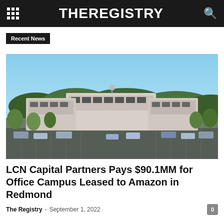THEREGISTRY
Recent News
[Figure (photo): Aerial view of a multi-building office campus with parking lots and surrounding trees, in Redmond, WA. Buildings are light-colored two-story structures with a blue sky and forested hills in the background.]
LCN Capital Partners Pays $90.1MM for Office Campus Leased to Amazon in Redmond
The Registry - September 1, 2022